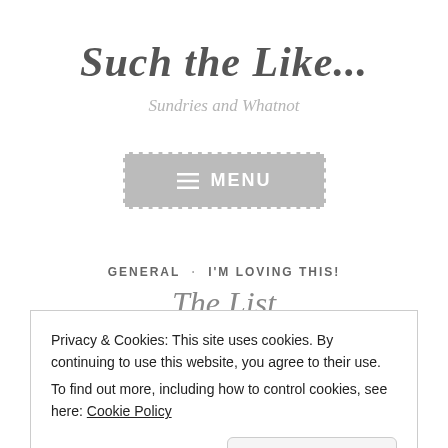Such the Like...
Sundries and Whatnot
[Figure (other): Menu button with hamburger icon and text MENU, grey background with dashed white border]
GENERAL · I'M LOVING THIS!
The List
Privacy & Cookies: This site uses cookies. By continuing to use this website, you agree to their use.
To find out more, including how to control cookies, see here: Cookie Policy
Close and accept
I've worked...hard. Work, work, work....makes Amy a